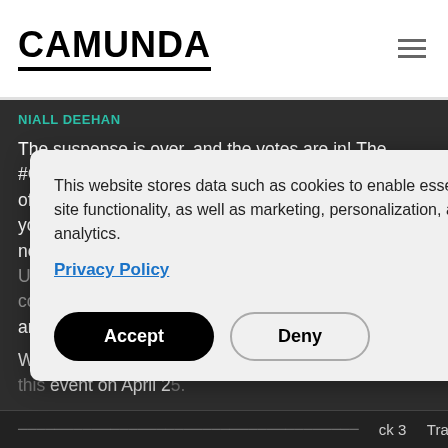CAMUNDA
NIALL DEEHAN
The suspense is over, and the votes are in! The #CamundaSummit Unconference agenda is now officially finalized and ready for you. You submitted your discussion topics, voted on your top picks, and now you'll get exactly what you want for the Unconference. Get ready to discuss... [partially obscured by cookie banner]
This website stores data such as cookies to enable essential site functionality, as well as marketing, personalization, and analytics.
Privacy Policy
Accept
Deny